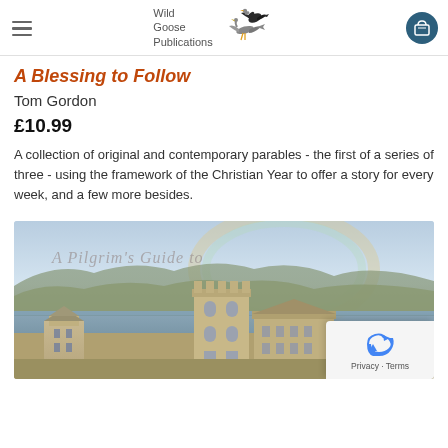Wild Goose Publications
A Blessing to Follow
Tom Gordon
£10.99
A collection of original and contemporary parables - the first of a series of three - using the framework of the Christian Year to offer a story for every week, and a few more besides.
[Figure (photo): Book cover image showing 'A Pilgrim's Guide to' text overlaid on a landscape photograph featuring a Scottish coastal scene with historic stone abbey or cathedral buildings in the foreground, water and hills in the background, and a subtle rainbow in the sky.]